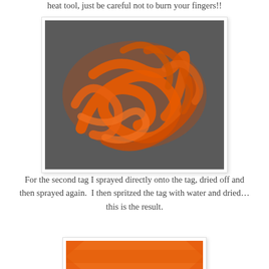heat tool, just be careful not to burn your fingers!!
[Figure (photo): A pile of crinkled orange satin ribbon on a dark gray background, showing texture and ruffled edges from heat treatment.]
For the second tag I sprayed directly onto the tag, dried off and then sprayed again.  I then spritzed the tag with water and dried… this is the result.
[Figure (photo): Partial view of an orange tag or card against an orange background, showing the result of spraying and water spritzing.]